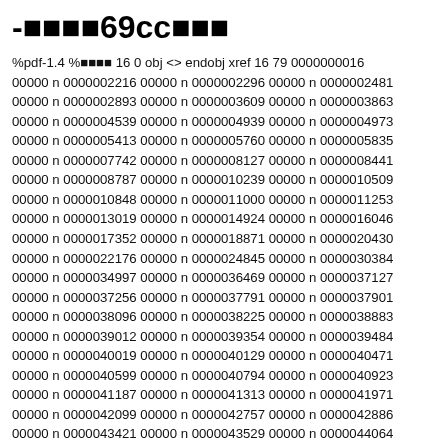-■■■■69cc■■■
%pdf-1.4 %���� 16 0 obj <> endobj xref 16 79 0000000016 00000 n 0000002216 00000 n 0000002296 00000 n 0000002481 00000 n 0000002893 00000 n 0000003609 00000 n 0000003863 00000 n 0000004539 00000 n 0000004939 00000 n 0000004973 00000 n 0000005413 00000 n 0000005760 00000 n 0000005835 00000 n 0000007742 00000 n 0000008127 00000 n 0000008441 00000 n 0000008787 00000 n 0000010239 00000 n 0000010509 00000 n 0000010848 00000 n 0000011000 00000 n 0000011253 00000 n 0000013019 00000 n 0000014924 00000 n 0000016046 00000 n 0000017352 00000 n 0000018871 00000 n 0000020430 00000 n 0000022176 00000 n 0000024845 00000 n 0000030384 00000 n 0000034997 00000 n 0000036469 00000 n 0000037127 00000 n 0000037256 00000 n 0000037791 00000 n 0000037901 00000 n 0000038096 00000 n 0000038225 00000 n 0000038883 00000 n 0000039012 00000 n 0000039354 00000 n 0000039484 00000 n 0000040019 00000 n 0000040129 00000 n 0000040471 00000 n 0000040599 00000 n 0000040794 00000 n 0000040923 00000 n 0000041187 00000 n 0000041313 00000 n 0000041971 00000 n 0000042099 00000 n 0000042757 00000 n 0000042886 00000 n 0000043421 00000 n 0000043529 00000 n 0000044064 00000 n 0000044174 00000 n 0000044269 00000 n 0000044497